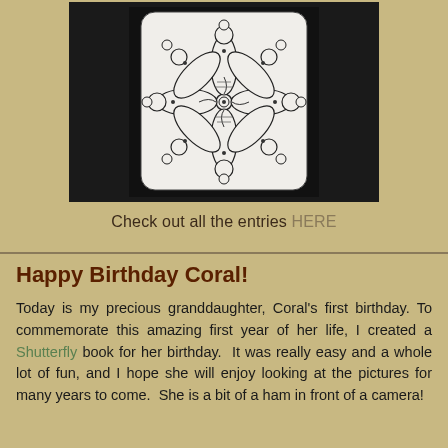[Figure (illustration): A zentangle-style mandala artwork on white paper with a dark background. The mandala features intricate swirling patterns, circles of varying sizes, and floral/petal shapes arranged symmetrically around a central spiral.]
Check out all the entries HERE
Happy Birthday Coral!
Today is my precious granddaughter, Coral's first birthday. To commemorate this amazing first year of her life, I created a Shutterfly book for her birthday. It was really easy and a whole lot of fun, and I hope she will enjoy looking at the pictures for many years to come. She is a bit of a ham in front of a camera!